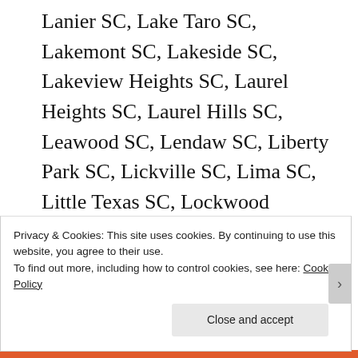Lanier SC, Lake Taro SC, Lakemont SC, Lakeside SC, Lakeview Heights SC, Laurel Heights SC, Laurel Hills SC, Leawood SC, Lendaw SC, Liberty Park SC, Lickville SC, Lima SC, Little Texas SC, Lockwood Heights SC, Locust Hill SC, Lorena Park SC, Magnolia Acres SC, Mansfield Park SC, Maple SC, Marshall
Privacy & Cookies: This site uses cookies. By continuing to use this website, you agree to their use.
To find out more, including how to control cookies, see here: Cookie Policy